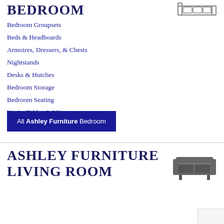BEDROOM
[Figure (illustration): Bed icon outline, top-down view]
Bedroom Groupsets
Beds & Headboards
Armoires, Dressers, & Chests
Nightstands
Desks & Hutches
Bedroom Storage
Bedroom Seating
Vanity Tables & Mirrors
All Ashley Furniture Bedroom
ASHLEY FURNITURE LIVING ROOM
[Figure (illustration): Sofa icon, dark gray]
Sofas & Loveseats
Sleeper Sofas